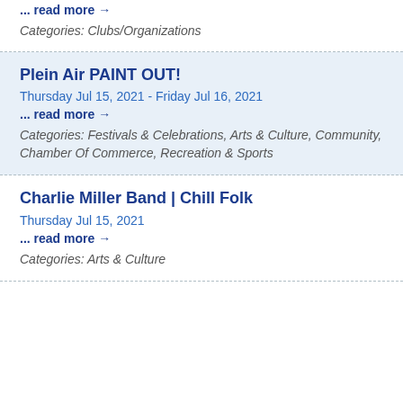... read more →
Categories: Clubs/Organizations
Plein Air PAINT OUT!
Thursday Jul 15, 2021 - Friday Jul 16, 2021
... read more →
Categories: Festivals & Celebrations, Arts & Culture, Community, Chamber Of Commerce, Recreation & Sports
Charlie Miller Band | Chill Folk
Thursday Jul 15, 2021
... read more →
Categories: Arts & Culture